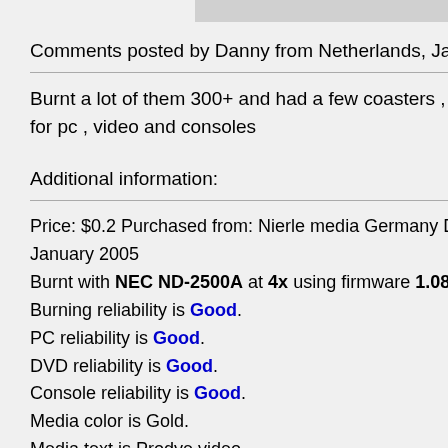Comments posted by Danny from Netherlands, January
Burnt a lot of them 300+ and had a few coasters , but n for pc , video and consoles
Additional information:
Price: $0.2 Purchased from: Nierle media Germany Date January 2005
Burnt with NEC ND-2500A at 4x using firmware 1.08.
Burning reliability is Good.
PC reliability is Good.
DVD reliability is Good.
Console reliability is Good.
Media color is Gold.
Media text is Prodye video.
Media package type is Cake Box. Number of discs 25.
Authoring/Burning comments:
burnt with nero 6.60 , dvddecrypter 3.5.1.0 , imgToolBur dvdshrink 3.2
Works fine on Elyxio DVD-2200S